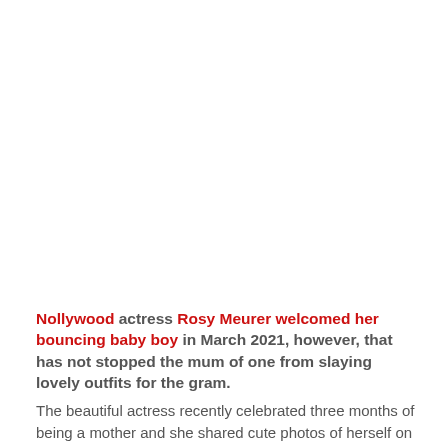Nollywood actress Rosy Meurer welcomed her bouncing baby boy in March 2021, however, that has not stopped the mum of one from slaying lovely outfits for the gram.
The beautiful actress recently celebrated three months of being a mother and she shared cute photos of herself on social media.